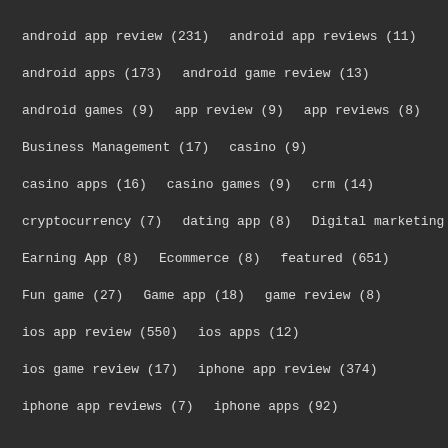android app review (231)
android app reviews (11)
android apps (173)
android game review (13)
android games (9)
app review (9)
app reviews (8)
Business Management (17)
casino (9)
casino apps (16)
casino games (9)
crm (14)
cryptocurrency (7)
dating app (8)
Digital marketing (6)
Earning App (8)
Ecommerce (8)
featured (651)
Fun game (27)
Game app (18)
game review (8)
ios app review (550)
ios apps (12)
ios game review (17)
iphone app review (374)
iphone app reviews (7)
iphone apps (92)